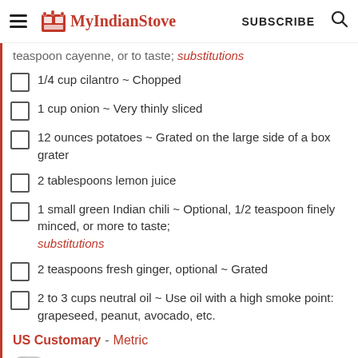MyIndianStove | SUBSCRIBE
teaspoon cayenne, or to taste; substitutions
1/4 cup cilantro ~ Chopped
1 cup onion ~ Very thinly sliced
12 ounces potatoes ~ Grated on the large side of a box grater
2 tablespoons lemon juice
1 small green Indian chili ~ Optional, 1/2 teaspoon finely minced, or more to taste; substitutions
2 teaspoons fresh ginger, optional ~ Grated
2 to 3 cups neutral oil ~ Use oil with a high smoke point: grapeseed, peanut, avocado, etc.
US Customary - Metric
Cook Mode Prevent your screen from going dark